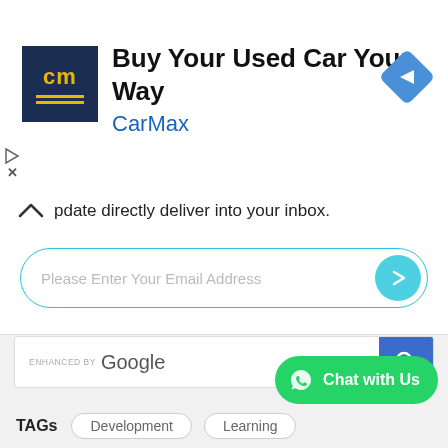[Figure (screenshot): CarMax advertisement banner with dark blue logo showing 'cm', title 'Buy Your Used Car Your Way', brand name 'CarMax' in blue, and a blue diamond navigation icon]
pdate directly deliver into your inbox.
[Figure (screenshot): Email subscription input field with placeholder 'Please Enter Your Email Address' and a teal submit button]
[Figure (screenshot): Google search box with 'ENHANCED BY Google' label and blue search button]
[Figure (screenshot): WhatsApp Chat with Us green button]
TAGs
Development
Learning